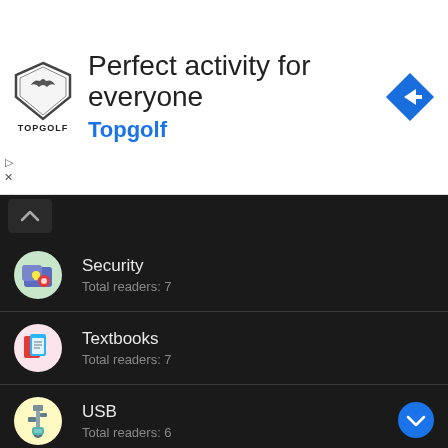[Figure (infographic): Advertisement banner for Topgolf: logo shield, headline 'Perfect activity for everyone', brand name 'Topgolf' in blue, navigation arrow icon]
Security
Total readers: 7
Textbooks
Total readers: 7
USB
Total readers: 6
Activators
Total readers: 6
OS
Total readers: 6